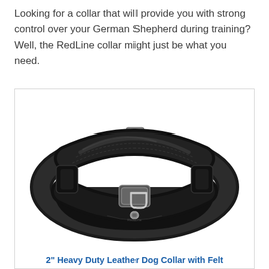Looking for a collar that will provide you with strong control over your German Shepherd during training? Well, the RedLine collar might just be what you need.
[Figure (photo): Photo of a 2-inch heavy duty black leather dog collar with a padded felt lining, a metal D-ring attachment point in the front center, and a buckle clasp at the top.]
2" Heavy Duty Leather Dog Collar with Felt